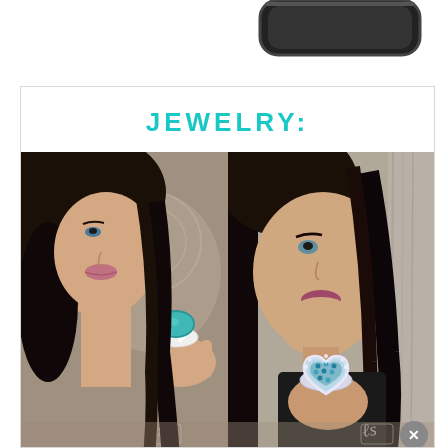[Figure (photo): Partial view of phone/device graphic at top of page against white background]
JEWELRY:
[Figure (photo): Woman with dark hair holding up a ring with turquoise oval stone set in white heart-shaped band, close-up portrait]
[Figure (photo): Woman with dark hair and mauve lips holding up a heart-shaped ring with aqua/teal checkerboard pattern stones, close-up portrait]